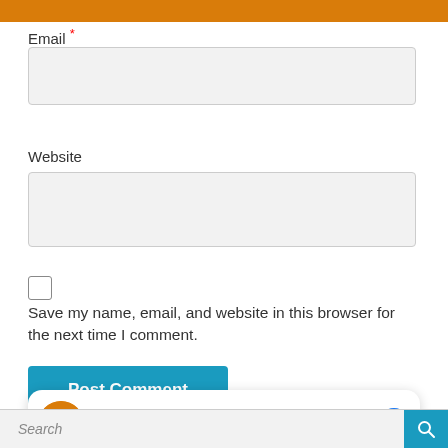Email *
Website
Save my name, email, and website in this browser for the next time I comment.
Post Comment
[Figure (screenshot): Chat widget showing 'Chat with Digital painting' with avatar logo and Messenger icon. Subtitle: Hi! How can we help you?]
Search